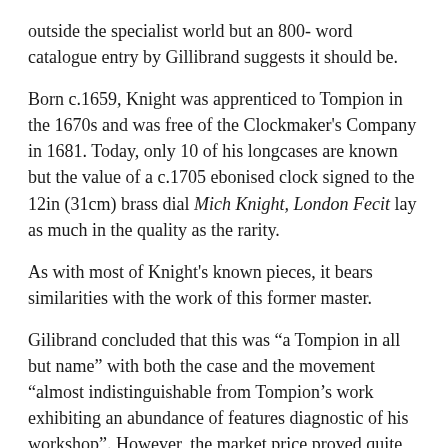outside the specialist world but an 800- word catalogue entry by Gillibrand suggests it should be.
Born c.1659, Knight was apprenticed to Tompion in the 1670s and was free of the Clockmaker's Company in 1681. Today, only 10 of his longcases are known but the value of a c.1705 ebonised clock signed to the 12in (31cm) brass dial Mich Knight, London Fecit lay as much in the quality as the rarity.
As with most of Knight's known pieces, it bears similarities with the work of this former master.
Gilibrand concluded that this was "a Tompion in all but name" with both the case and the movement "almost indistinguishable from Tompion's work exhibiting an abundance of features diagnostic of his workshop". However, the market price proved quite different. The longcase was estimated at £8000- 12,000 by Dreweatts and sold to a UK collector at £13,000.